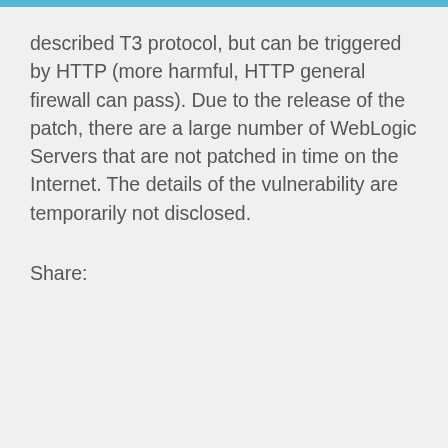described T3 protocol, but can be triggered by HTTP (more harmful, HTTP general firewall can pass). Due to the release of the patch, there are a large number of WebLogic Servers that are not patched in time on the Internet. The details of the vulnerability are temporarily not disclosed.
Share: